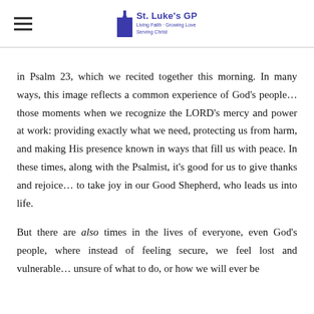St. Luke's GP — Living Faith · Growing Love · Serving Christ
in Psalm 23, which we recited together this morning. In many ways, this image reflects a common experience of God's people… those moments when we recognize the LORD's mercy and power at work: providing exactly what we need, protecting us from harm, and making His presence known in ways that fill us with peace. In these times, along with the Psalmist, it's good for us to give thanks and rejoice… to take joy in our Good Shepherd, who leads us into life.
But there are also times in the lives of everyone, even God's people, where instead of feeling secure, we feel lost and vulnerable… unsure of what to do, or how we will ever be